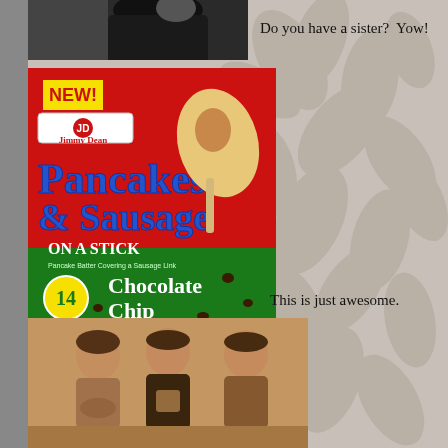[Figure (photo): Partial photo of a person in dark clothing, cropped, visible at top left]
Do you have a sister?  Yow!
[Figure (photo): Jimmy Dean NEW! Pancakes & Sausage On A Stick Chocolate Chip box with 14 pieces, showing the product image]
This is just awesome.
[Figure (photo): Sepia-toned vintage photograph of three children sitting together, eating]